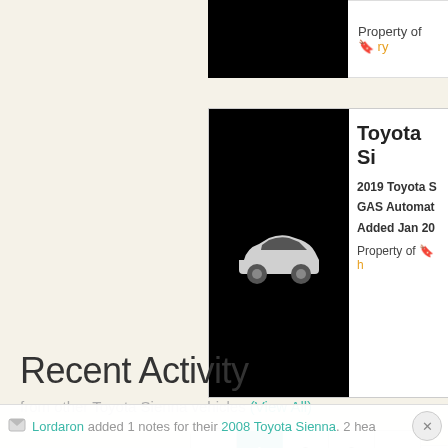[Figure (screenshot): Partial vehicle card with black image area and 'Property of' text in top right area]
[Figure (screenshot): Toyota Sienna vehicle card with white car icon on black background, showing vehicle title 'Toyota Si...', details '2019 Toyota S... GAS Automat... Added Jan 20...' and 'Property of h...']
« 1 2 3 »
Recent Activity
from other Toyota Sienna vehicles (View All)
Lordaron added 1 notes for their 2008 Toyota Sienna. 2 hea...